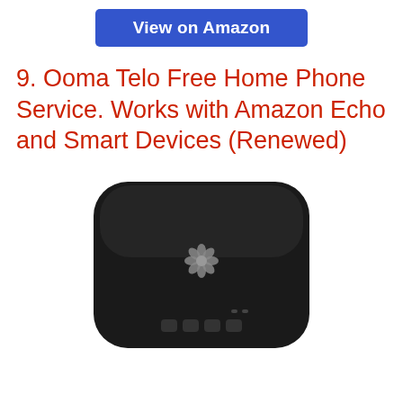[Figure (other): Blue 'View on Amazon' button]
9. Ooma Telo Free Home Phone Service. Works with Amazon Echo and Smart Devices (Renewed)
[Figure (photo): Ooma Telo device — a black rounded rectangular box with the Ooma flower logo on top and control buttons on the front edge, photographed from above]